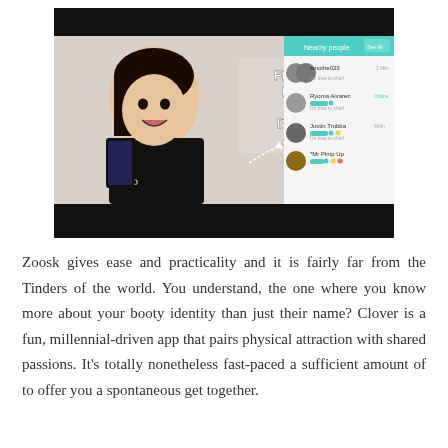[Figure (screenshot): Screenshot of a video thumbnail showing a young woman holding a phone with text 'FREE AT LEGIT NA DATING APP' with a heart emoji, alongside a dating app interface showing user profiles.]
Zoosk gives ease and practicality and it is fairly far from the Tinders of the world. You understand, the one where you know more about your booty identity than just their name? Clover is a fun, millennial-driven app that pairs physical attraction with shared passions. It's totally nonetheless fast-paced a sufficient amount of to offer you a spontaneous get together.